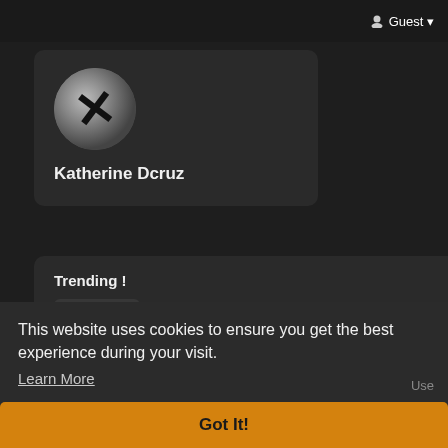Guest
Katherine Dcruz
Trending !
#vrchat
2 Posts
This website uses cookies to ensure you get the best experience during your visit.
Learn More
Use
Got It!